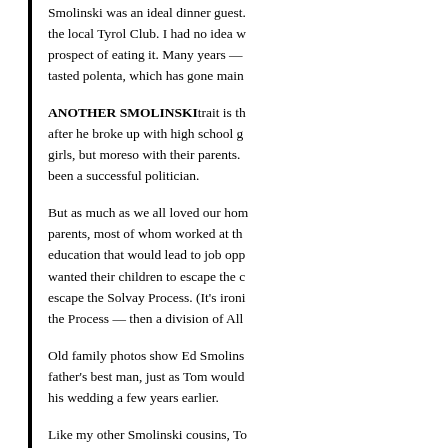Smolinski was an ideal dinner guest. the local Tyrol Club. I had no idea w prospect of eating it. Many years — tasted polenta, which has gone main
ANOTHER SMOLINSKI trait is th after he broke up with high school g girls, but moreso with their parents. been a successful politician.
But as much as we all loved our hom parents, most of whom worked at th education that would lead to job opp wanted their children to escape the c escape the Solvay Process. (It's ironi the Process — then a division of All
Old family photos show Ed Smolins father's best man, just as Tom would his wedding a few years earlier.
Like my other Smolinski cousins, To